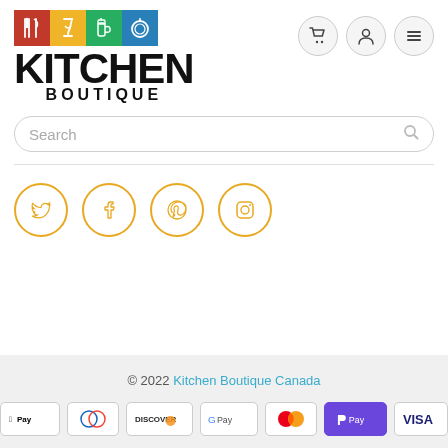[Figure (logo): Kitchen Boutique logo with colored icon squares (red, yellow, green, blue) and text KITCHEN BOUTIQUE]
[Figure (infographic): Navigation icons: cart, user, hamburger menu in circular grey buttons]
Search
[Figure (infographic): Social media icons in gold circles: Twitter, Facebook, Pinterest, Instagram]
© 2022 Kitchen Boutique Canada
[Figure (infographic): Payment method icons: Apple Pay, Diners Club, Discover, Google Pay, Mastercard, Shop Pay, Visa]